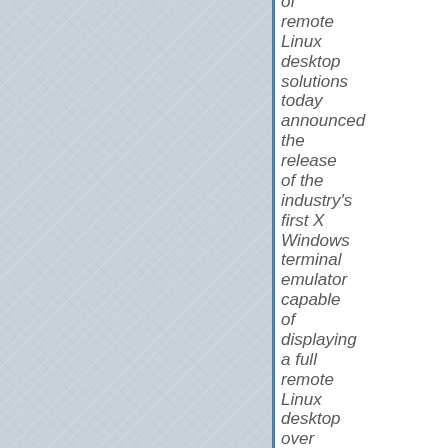[Figure (photo): Light blue-grey linen or fabric texture background filling the left portion of the page]
of remote Linux desktop solutions today announced the release of the industry's first X Windows terminal emulator capable of displaying a full remote Linux desktop over the